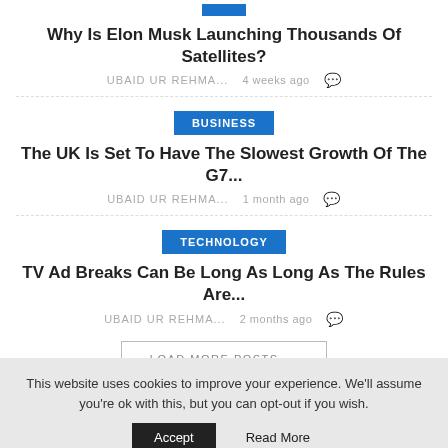Why Is Elon Musk Launching Thousands Of Satellites?
UBAID UR REHMA...   4 weeks ago
BUSINESS
The UK Is Set To Have The Slowest Growth Of The G7...
UBAID UR REHMA...   1 month ago
TECHNOLOGY
TV Ad Breaks Can Be Long As Long As The Rules Are...
UBAID UR REHMA...   2 months ago
LOAD MORE POSTS
This website uses cookies to improve your experience. We'll assume you're ok with this, but you can opt-out if you wish. Accept  Read More